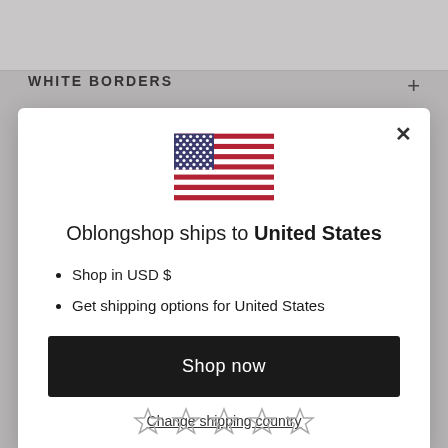WHITE BORDERS
[Figure (illustration): US flag icon]
Oblongshop ships to United States
Shop in USD $
Get shipping options for United States
Shop now
Change shipping country
[Figure (illustration): Five empty star rating icons]